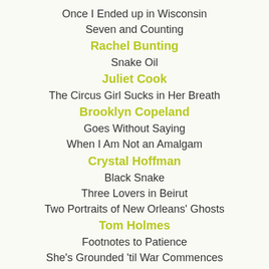Once I Ended up in Wisconsin
Seven and Counting
Rachel Bunting
Snake Oil
Juliet Cook
The Circus Girl Sucks in Her Breath
Brooklyn Copeland
Goes Without Saying
When I Am Not an Amalgam
Crystal Hoffman
Black Snake
Three Lovers in Beirut
Two Portraits of New Orleans' Ghosts
Tom Holmes
Footnotes to Patience
She's Grounded 'til War Commences
D.M. Huneke
On Spontaneous Human Combustion
Jason Kirin
Among Machinery
Dana Guthrie Martin
Jesus Waits